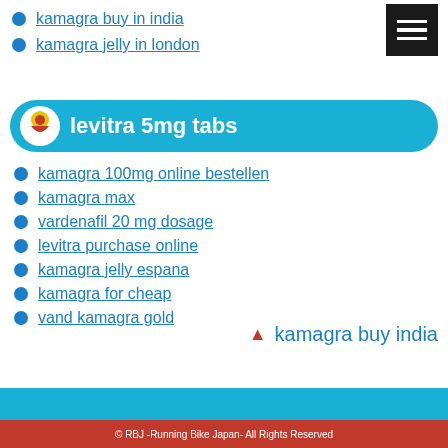kamagra buy in india
kamagra jelly in london
[Figure (other): Hamburger menu button (three horizontal white lines on black background)]
levitra 5mg tabs
kamagra 100mg online bestellen
kamagra max
vardenafil 20 mg dosage
levitra purchase online
kamagra jelly espana
kamagra for cheap
vand kamagra gold
▲ kamagra buy india
© RBJ -Running Bike Japan- All Rights Reserved